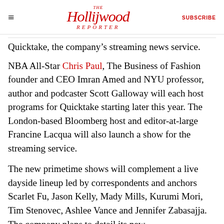The Hollywood Reporter | SUBSCRIBE
g … p … Quicktake, the company's streaming news service.
NBA All-Star Chris Paul, The Business of Fashion founder and CEO Imran Amed and NYU professor, author and podcaster Scott Galloway will each host programs for Quicktake starting later this year. The London-based Bloomberg host and editor-at-large Francine Lacqua will also launch a show for the streaming service.
The new primetime shows will complement a live dayside lineup led by correspondents and anchors Scarlet Fu, Jason Kelly, Mady Mills, Kurumi Mori, Tim Stenovec, Ashlee Vance and Jennifer Zabasajja. The company plans to detail its new